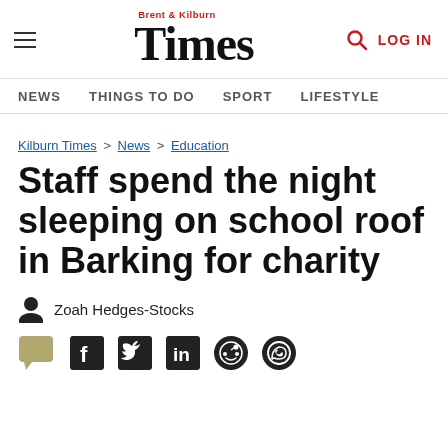Brent & Kilburn Times — NEWS | THINGS TO DO | SPORT | LIFESTYLE | LOG IN
Kilburn Times > News > Education
Staff spend the night sleeping on school roof in Barking for charity
Zoah Hedges-Stocks